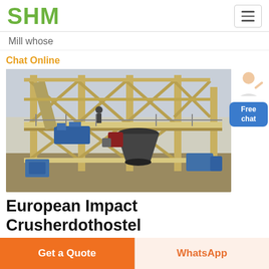SHM
Mill whose
Chat Online
[Figure (photo): Industrial European Impact Crusher machine on a large elevated platform with steel scaffolding, machinery, and conveyors in an industrial setting.]
European Impact Crusherdothostel
Get a Quote
WhatsApp